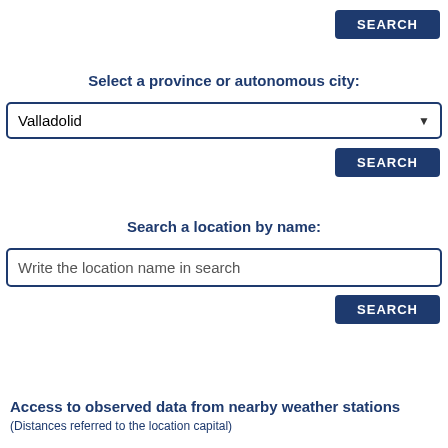[Figure (screenshot): SEARCH button at top right, dark navy blue rounded rectangle with white text]
Select a province or autonomous city:
[Figure (screenshot): Dropdown selector showing 'Valladolid' with navy border and down arrow]
[Figure (screenshot): SEARCH button, dark navy blue rounded rectangle with white text]
Search a location by name:
[Figure (screenshot): Text input field with placeholder 'Write the location name in search', navy border]
[Figure (screenshot): SEARCH button, dark navy blue rounded rectangle with white text]
Access to observed data from nearby weather stations (Distances referred to the location capital)